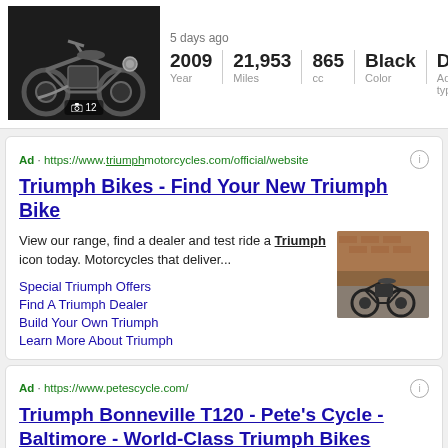[Figure (photo): Black vintage-style motorcycle (Triumph Bonneville) on dark background, thumbnail with photo count overlay showing camera icon and 12]
5 days ago
| 2009 Year | 21,953 Miles | 865 cc | Black Color | Dealer Advertiser type |
| --- | --- | --- | --- | --- |
[Figure (screenshot): Google search ad result for Triumph motorcycles official website]
Ad · https://www.triumph motorcycles.com/official/website
Triumph Bikes - Find Your New Triumph Bike
View our range, find a dealer and test ride a Triumph icon today. Motorcycles that deliver...
Special Triumph Offers
Find A Triumph Dealer
Build Your Own Triumph
Learn More About Triumph
[Figure (photo): Triumph motorcycle parked in front of a brick building]
Ad · https://www.petescycle.com/
Triumph Bonneville T120 - Pete's Cycle - Baltimore - World-Class Triumph Bikes